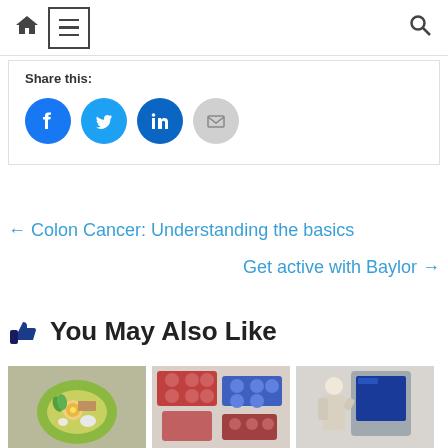Home | Menu | Search
Share this:
[Figure (illustration): Social share buttons: Facebook (blue circle), Twitter (blue circle), LinkedIn (blue circle), Email (grey circle)]
← Colon Cancer: Understanding the basics
Get active with Baylor →
👍 You May Also Like
[Figure (photo): Plate of healthy food with vegetables, egg, and bread on green plate]
[Figure (photo): Assorted medication pills and blister packs in red and blue]
[Figure (photo): Person looking at a medical screen or imaging device]